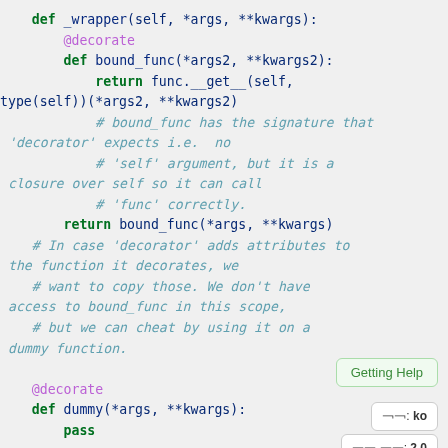[Figure (screenshot): Python source code snippet showing a decorator helper function with syntax highlighting. Code includes _wrapper, bound_func definitions, comments about decorator signature, and a dummy function. Two popup overlays appear: 'Getting Help' and version/language indicators.]